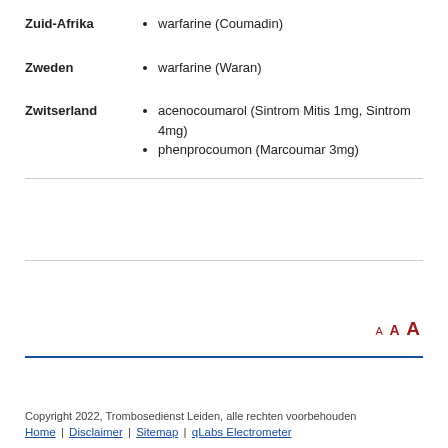Zuid-Afrika: warfarine (Coumadin)
Zweden: warfarine (Waran)
Zwitserland: acenocoumarol (Sintrom Mitis 1mg, Sintrom 4mg)
Zwitserland: phenprocoumon (Marcoumar 3mg)
A A A (font size controls)
Copyright 2022, Trombosedienst Leiden, alle rechten voorbehouden
Home | Disclaimer | Sitemap | qLabs Electrometer